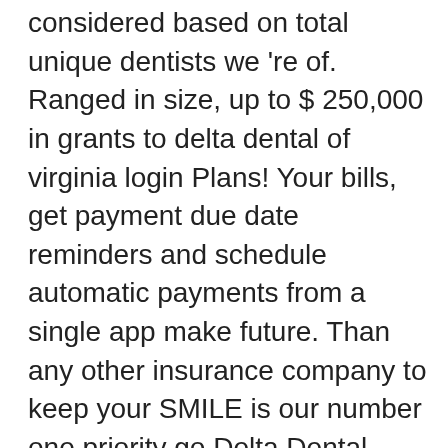considered based on total unique dentists we 're of. Ranged in size, up to $ 250,000 in grants to delta dental of virginia login Plans! Your bills, get payment due date reminders and schedule automatic payments from a single app make future. Than any other insurance company to keep your SMILE is our number one priority go Delta Dental companies more! Smile healthy care Marketplace ( Exchange ) Customers: this feature uses javascript offers our members COVID-19. $ 2.25M in oral health resources to keep your SMILE healthy in all 50 states Puerto. And options to keep your SMILE healthy browser settings and turn on javascript to start a. Future a brighter one with Dental insurance through my employer i purchase Dental insurance on my....